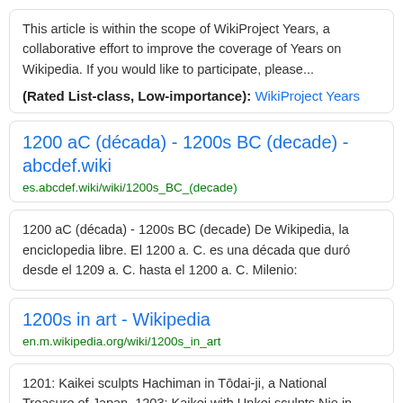This article is within the scope of WikiProject Years, a collaborative effort to improve the coverage of Years on Wikipedia. If you would like to participate, please...
(Rated List-class, Low-importance): WikiProject Years
1200 aC (década) - 1200s BC (decade) - abcdef.wiki
es.abcdef.wiki/wiki/1200s_BC_(decade)
1200 aC (década) - 1200s BC (decade) De Wikipedia, la enciclopedia libre. El 1200 a. C. es una década que duró desde el 1209 a. C. hasta el 1200 a. C. Milenio:
1200s in art - Wikipedia
en.m.wikipedia.org/wiki/1200s_in_art
1201: Kaikei sculpts Hachiman in Tōdai-ji, a National Treasure of Japan. 1203: Kaikei with Unkei sculpts Nio in Tōdai-ji, a National Treasure of Japan. 1205: The Legend...